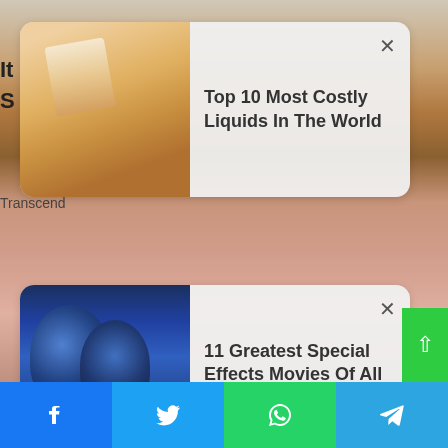[Figure (screenshot): Ad card 1: thumbnail of a hand holding a small metallic object, with text 'Top 10 Most Costly Liquids In The World' and a close (X) button]
11 Greatest Special Effects Movies Of All Time
[Figure (screenshot): Ad card 2: thumbnail showing Avatar movie characters (blue Na'vi), with text '11 Greatest Special Effects Movies Of All Time' and a close (X) button]
[Figure (photo): Background photo of a young woman looking upward, close-up face shot]
[Figure (screenshot): Social sharing bar at bottom with Facebook, Twitter, WhatsApp, and Telegram icons]